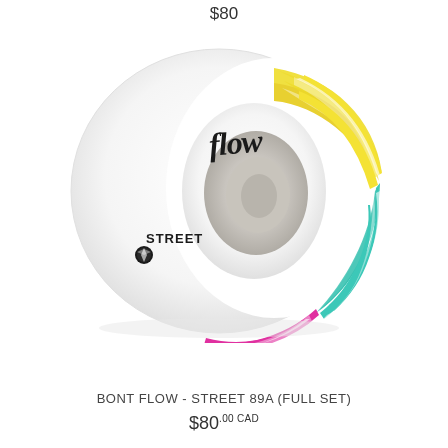$80
[Figure (photo): A white roller skate wheel with colorful swirl design in yellow, teal/cyan, and magenta/pink. The wheel has 'Flow' written in black cursive script at the top and 'STREET' with a logo on the left side. The face of the wheel shows a spiral pattern with the three colors radiating outward from the center hub.]
BONT FLOW - STREET 89A (FULL SET)
$80.00 CAD